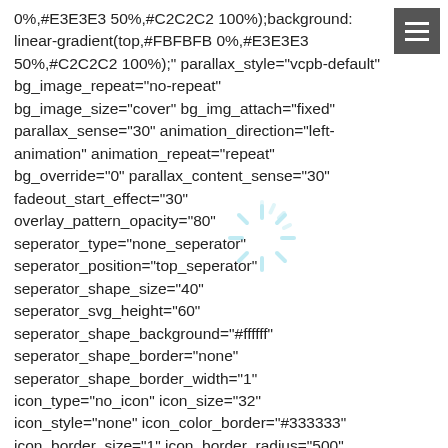0%,#E3E3E3 50%,#C2C2C2 100%);background: linear-gradient(top,#FBFBFB 0%,#E3E3E3 50%,#C2C2C2 100%);" parallax_style="vcpb-default" bg_image_repeat="no-repeat" bg_image_size="cover" bg_img_attach="fixed" parallax_sense="30" animation_direction="left-animation" animation_repeat="repeat" bg_override="0" parallax_content_sense="30" fadeout_start_effect="30" overlay_pattern_opacity="80" seperator_type="none_seperator" seperator_position="top_seperator" seperator_shape_size="40" seperator_svg_height="60" seperator_shape_background="#ffffff" seperator_shape_border="none" seperator_shape_border_width="1" icon_type="no_icon" icon_size="32" icon_style="none" icon_color_border="#333333" icon_border_size="1" icon_border_radius="500" icon_border_spacing="50" img_width="48"][vc_column width="1/3"][vc_empty_space height="44px"][vc_single_image image="14493" img_size="1500×1000" alignment="center"
[Figure (illustration): Loading spinner / starburst icon overlay in light blue/cyan color, semi-transparent]